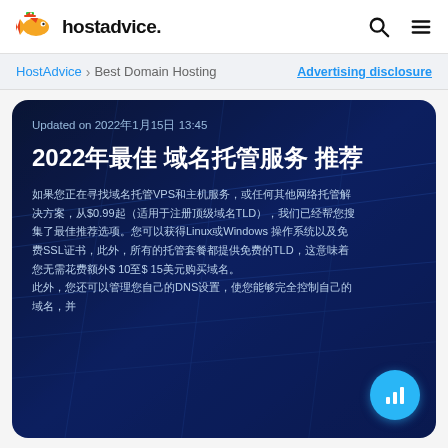hostadvice.
HostAdvice > Best Domain Hosting   Advertising disclosure
Updated on 2022年1月15日 13:45
2022年最佳 域名托管服务 推荐
如果您正在寻找域名托管VPS和主机服务，或任何其他网络托管解决方案，从$0.99起（适用于注册顶级域名TLD），我们已经帮您搜集了最佳推荐选项。您可以获得Linux或Windows 操作系统以及免费SSL证书，此外，所有的托管套餐都提供免费的TLD，这意味着您无需花费额外$ 10至$ 15美元购买域名。
此外，您还可以管理您自己的DNS设置，使您能够完全控制自己的域名，并